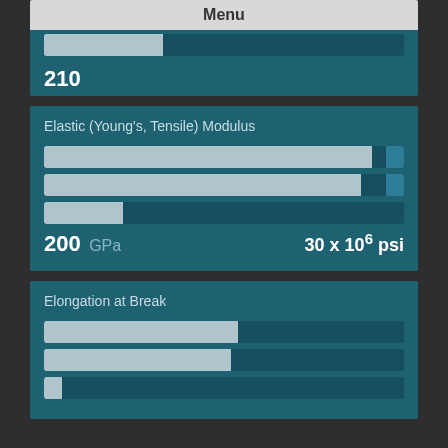[Figure (infographic): Top card showing menu bar with bold 'Menu' label, a partial progress bar below it, and the value 210]
210
Elastic (Young's, Tensile) Modulus
[Figure (bar-chart): Three horizontal progress bars showing range for Elastic Modulus]
200 GPa    30 x 10^6 psi
Elongation at Break
[Figure (bar-chart): Three horizontal progress bars showing range for Elongation at Break]